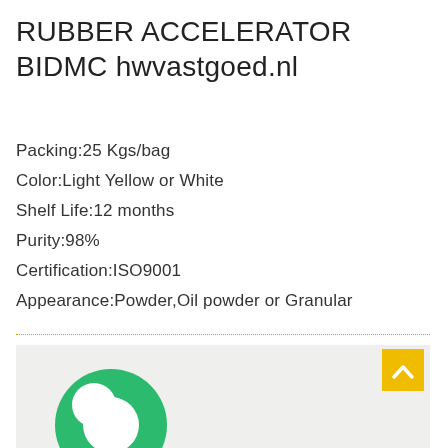RUBBER ACCELERATOR BIDMC hwvastgoed.nl
Packing:25 Kgs/bag
Color:Light Yellow or White
Shelf Life:12 months
Purity:98%
Certification:ISO9001
Appearance:Powder,Oil powder or Granular
[Figure (logo): Green circular logo with white swirl/C shape, partially visible at bottom of page, with a yellow back-to-top button in the bottom right corner]